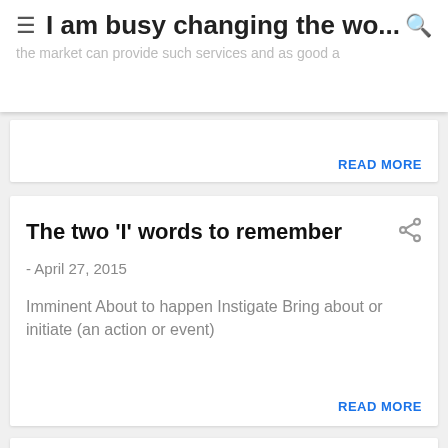I am busy changing the wo...
the market can provide such services and as good as
READ MORE
The two 'I' words to remember
- April 27, 2015
Imminent About to happen Instigate Bring about or initiate (an action or event)
READ MORE
Seth Godin Freelancer Course's Lecture 13, Exercise 4 - Rank Yourself